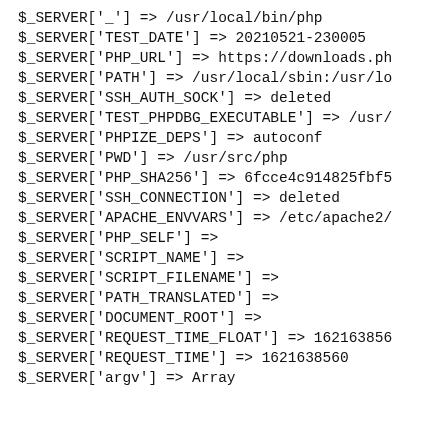$_SERVER['_'] => /usr/local/bin/php
$_SERVER['TEST_DATE'] => 20210521-230005
$_SERVER['PHP_URL'] => https://downloads.ph
$_SERVER['PATH'] => /usr/local/sbin:/usr/lo
$_SERVER['SSH_AUTH_SOCK'] => deleted
$_SERVER['TEST_PHPDBG_EXECUTABLE'] => /usr/
$_SERVER['PHPIZE_DEPS'] => autoconf
$_SERVER['PWD'] => /usr/src/php
$_SERVER['PHP_SHA256'] => 6fcce4c914825fbf5
$_SERVER['SSH_CONNECTION'] => deleted
$_SERVER['APACHE_ENVVARS'] => /etc/apache2/
$_SERVER['PHP_SELF'] =>
$_SERVER['SCRIPT_NAME'] =>
$_SERVER['SCRIPT_FILENAME'] =>
$_SERVER['PATH_TRANSLATED'] =>
$_SERVER['DOCUMENT_ROOT'] =>
$_SERVER['REQUEST_TIME_FLOAT'] => 162163856
$_SERVER['REQUEST_TIME'] => 1621638560
$_SERVER['argv'] => Array